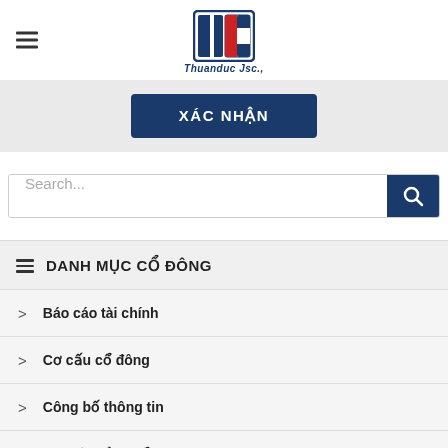[Figure (logo): Thuanduc Jsc. logo - blue and red company icon with text 'Thuanduc Jsc.,' below]
XÁC NHẬN
Search...
DANH MỤC CỔ ĐÔNG
Báo cáo tài chính
Cơ cấu cổ đông
Công bố thông tin
Đại hội đồng cổ đông